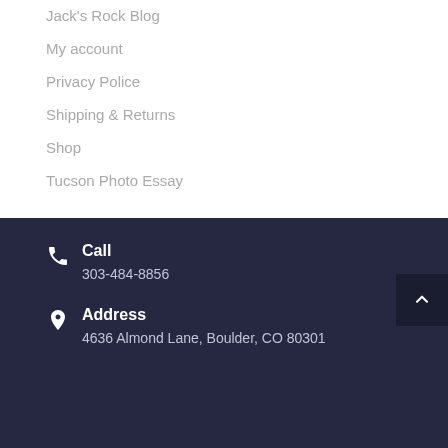Jack's Rock Blog
My account
Privacy Police
Shipping & Returns
Shop
Tucson Photo Essay
Call
303-484-8856
Address
4636 Almond Lane, Boulder, CO 80301